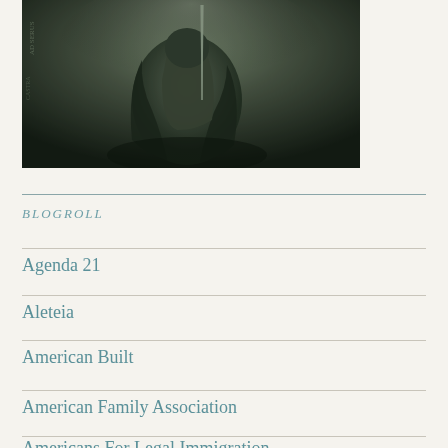[Figure (illustration): Dark fantasy illustration showing an armored warrior or monster figure holding a weapon, rendered in dark grey/green tones with a misty atmospheric background]
BLOGROLL
Agenda 21
Aleteia
American Built
American Family Association
Americans For Legal Immigration